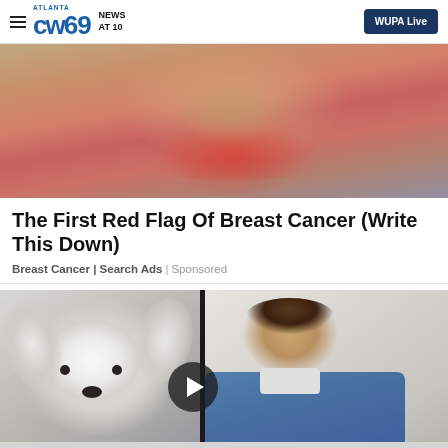ATLANTA CW69 NEWS AT 10 | WUPA Live
[Figure (photo): Person holding their chest/breast area with hands, with a red highlighted pain area shown on skin, sitting on a couch — medical advertisement image for breast cancer awareness]
The First Red Flag Of Breast Cancer (Write This Down)
Breast Cancer | Search Ads | Sponsored
[Figure (photo): Split image: left side shows a small fluffy white dog (Maltese) looking at camera; right side shows a man in a blue shirt looking down; a play button is visible in the center]